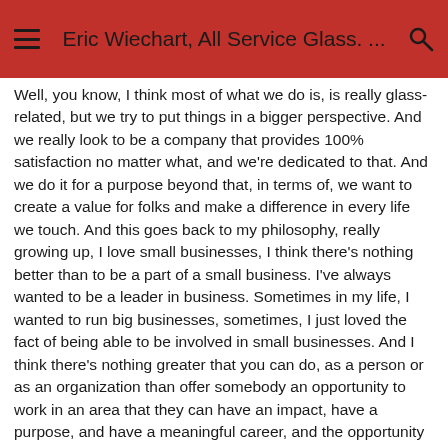Eric Wiechart, All Service Glass. ...
Well, you know, I think most of what we do is, is really glass-related, but we try to put things in a bigger perspective. And we really look to be a company that provides 100% satisfaction no matter what, and we're dedicated to that. And we do it for a purpose beyond that, in terms of, we want to create a value for folks and make a difference in every life we touch. And this goes back to my philosophy, really growing up, I love small businesses, I think there's nothing better than to be a part of a small business. I've always wanted to be a leader in business. Sometimes in my life, I wanted to run big businesses, sometimes, I just loved the fact of being able to be involved in small businesses. And I think there's nothing greater that you can do, as a person or as an organization than offer somebody an opportunity to work in an area that they can have an impact, have a purpose, and have a meaningful career, and the opportunity for growth and the ability to to be something more than what they started with. And I think small business delivers that better than frankly, any other organization size.